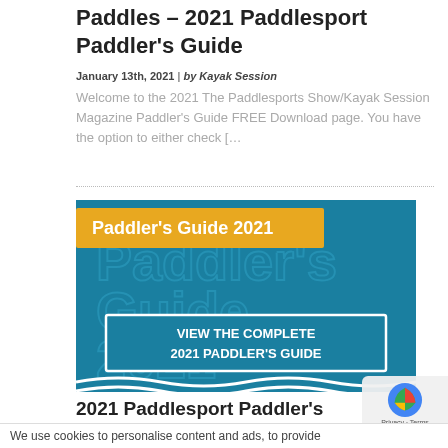Paddles – 2021 Paddlesport Paddler's Guide
January 13th, 2021 | by Kayak Session
Welcome to the 2021 The Paddlesports Show/Kayak Session Magazine Paddler's Guide FREE Download page. You have the option to either check [&hellip
[Figure (illustration): Promotional image for Paddler's Guide 2021 showing a teal/blue background with large text 'Paddler's Guide 2021' in white outline font, an orange banner with 'Paddler's Guide 2021' text, a white bordered box reading 'VIEW THE COMPLETE 2021 PADDLER'S GUIDE', and decorative wave shapes at the bottom.]
2021 Paddlesport Paddler's Guide
January 13th, 2021 | by Kayak Session
We use cookies to personalise content and ads, to provide